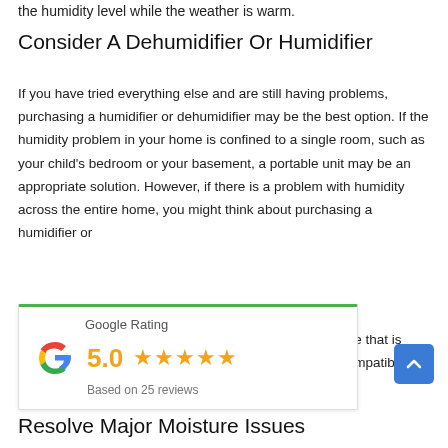the humidity level while the weather is warm.
Consider A Dehumidifier Or Humidifier
If you have tried everything else and are still having problems, purchasing a humidifier or dehumidifier may be the best option. If the humidity problem in your home is confined to a single room, such as your child's bedroom or your basement, a portable unit may be an appropriate solution. However, if there is a problem with humidity across the entire home, you might think about purchasing a humidifier or [widget overlaps] use that is compatible
[Figure (infographic): Google Rating widget showing 5.0 stars based on 25 reviews, with Google G logo and green top border]
Resolve Major Moisture Issues